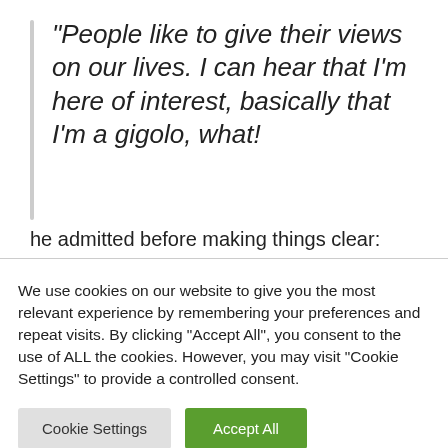“People like to give their views on our lives. I can hear that I’m here of interest, basically that I’m a gigolo, what!
he admitted before making things clear:
We use cookies on our website to give you the most relevant experience by remembering your preferences and repeat visits. By clicking “Accept All”, you consent to the use of ALL the cookies. However, you may visit "Cookie Settings" to provide a controlled consent.